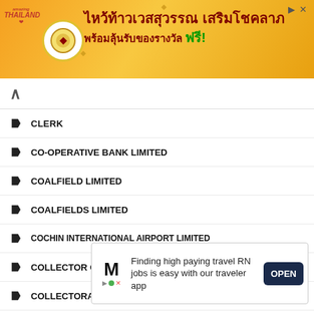[Figure (infographic): Banner advertisement for Amazing Thailand lottery promotion with Thai text 'ไหว้ท้าวเวสสุวรรณ เสริมโชคลาภ พร้อมลุ้นรับของรางวัล ฟรี!']
CLERK
CO-OPERATIVE BANK LIMITED
COALFIELD LIMITED
COALFIELDS LIMITED
COCHIN INTERNATIONAL AIRPORT LIMITED
COLLECTOR OFFICE
COLLECTORATE
COMMISSIONED OFFICER
COMMI...
COMMI...
COMMI... (partially visible)
[Figure (infographic): Bottom advertisement: 'Finding high paying travel RN jobs is easy with our traveler app' with OPEN button]